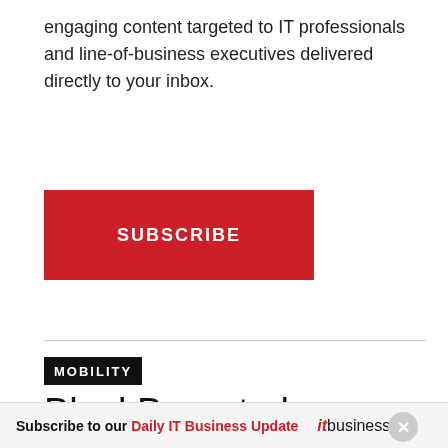engaging content targeted to IT professionals and line-of-business executives delivered directly to your inbox.
[Figure (other): Red SUBSCRIBE button]
MOBILITY
BlackBerry to have
Subscribe to our Daily IT Business Update  itbusiness.ca